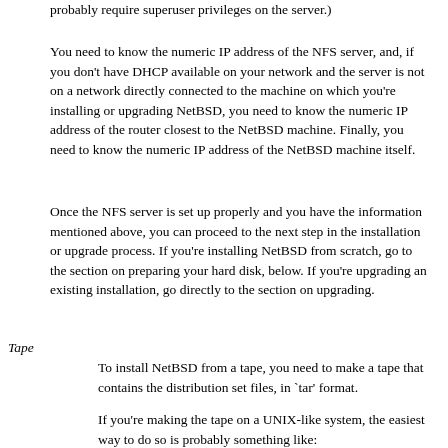probably require superuser privileges on the server.)
You need to know the numeric IP address of the NFS server, and, if you don't have DHCP available on your network and the server is not on a network directly connected to the machine on which you're installing or upgrading NetBSD, you need to know the numeric IP address of the router closest to the NetBSD machine. Finally, you need to know the numeric IP address of the NetBSD machine itself.
Once the NFS server is set up properly and you have the information mentioned above, you can proceed to the next step in the installation or upgrade process. If you're installing NetBSD from scratch, go to the section on preparing your hard disk, below. If you're upgrading an existing installation, go directly to the section on upgrading.
Tape
To install NetBSD from a tape, you need to make a tape that contains the distribution set files, in `tar' format.
If you're making the tape on a UNIX-like system, the easiest way to do so is probably something like: